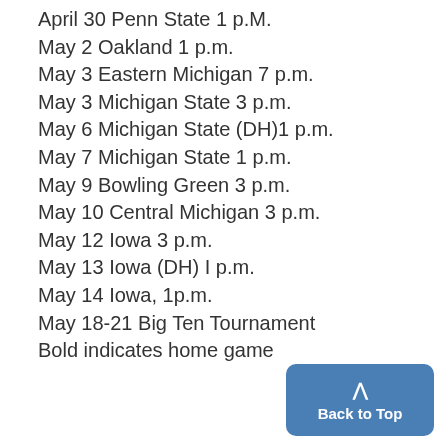April 30 Penn State 1 p.M.
May 2 Oakland 1 p.m.
May 3 Eastern Michigan 7 p.m.
May 3 Michigan State 3 p.m.
May 6 Michigan State (DH)1 p.m.
May 7 Michigan State 1 p.m.
May 9 Bowling Green 3 p.m.
May 10 Central Michigan 3 p.m.
May 12 Iowa 3 p.m.
May 13 Iowa (DH) I p.m.
May 14 Iowa, 1p.m.
May 18-21 Big Ten Tournament
Bold indicates home game